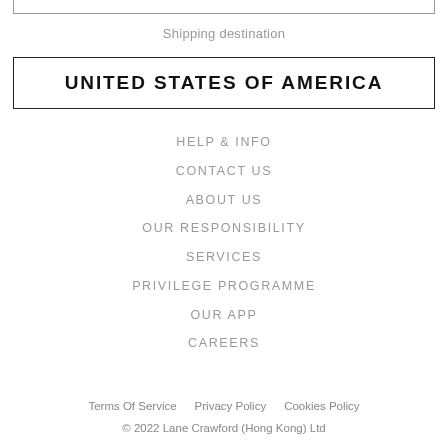Shipping destination
UNITED STATES OF AMERICA
HELP & INFO
CONTACT US
ABOUT US
OUR RESPONSIBILITY
SERVICES
PRIVILEGE PROGRAMME
OUR APP
CAREERS
Terms Of Service   Privacy Policy   Cookies Policy
© 2022 Lane Crawford (Hong Kong) Ltd